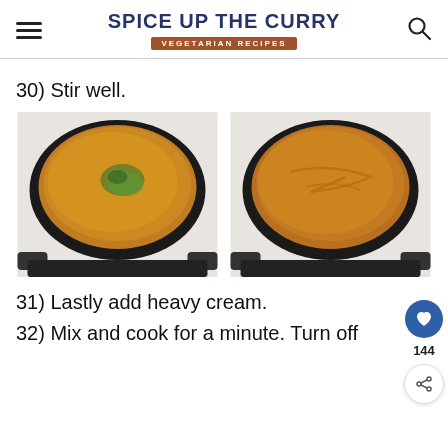Spice Up The Curry — Vegetarian Recipes
30) Stir well.
[Figure (photo): Two side-by-side photos of a cooking pan on a stove with orange curry sauce. Left photo shows green spice sprinkled on top; right photo shows the spice stirred in.]
31) Lastly add heavy cream.
32) Mix and cook for a minute. Turn off